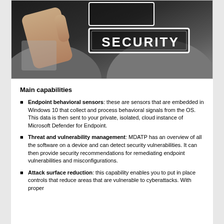[Figure (photo): A person in a suit pressing or pointing at a digital button/screen displaying the word SECURITY in white bold letters inside a rectangular border, against a dark background.]
Main capabilities
Endpoint behavioral sensors: these are sensors that are embedded in Windows 10 that collect and process behavioral signals from the OS. This data is then sent to your private, isolated, cloud instance of Microsoft Defender for Endpoint.
Threat and vulnerability management: MDATP has an overview of all the software on a device and can detect security vulnerabilities. It can then provide security recommendations for remediating endpoint vulnerabilities and misconfigurations.
Attack surface reduction: this capability enables you to put in place controls that reduce areas that are vulnerable to cyberattacks. With proper